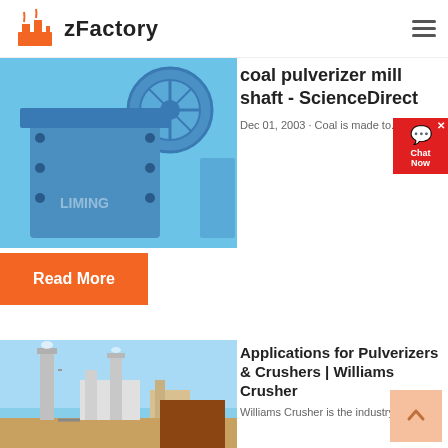zFactory
coal pulverizer mill shaft - ScienceDirect
Dec 01, 2003 · Coal is made to...
Read More
Applications for Pulverizers & Crushers | Williams Crusher
Williams Crusher is the industry l...